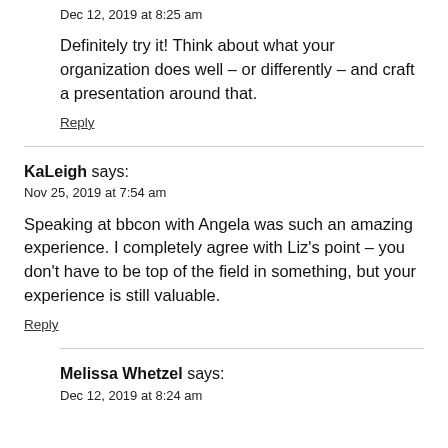Dec 12, 2019 at 8:25 am
Definitely try it! Think about what your organization does well – or differently – and craft a presentation around that.
Reply
KaLeigh says:
Nov 25, 2019 at 7:54 am
Speaking at bbcon with Angela was such an amazing experience. I completely agree with Liz's point – you don't have to be top of the field in something, but your experience is still valuable.
Reply
Melissa Whetzel says:
Dec 12, 2019 at 8:24 am